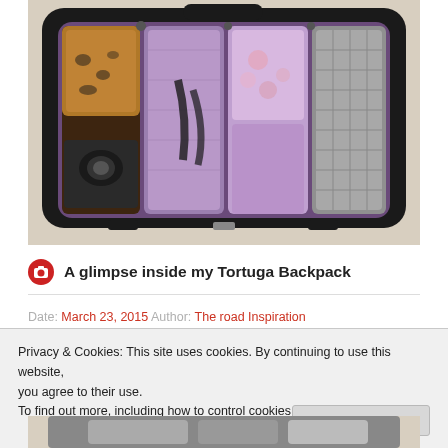[Figure (photo): Open black Tortuga backpack viewed from above, showing interior compartments packed with clothing in purple/lavender packing cubes, a leopard print pouch, camera, and gray mesh sections, lying on a cream-colored surface.]
A glimpse inside my Tortuga Backpack
Date: March 23, 2015  Author: The road Inspiration
Privacy & Cookies: This site uses cookies. By continuing to use this website, you agree to their use.
To find out more, including how to control cookies, see here: Cookie Policy
[Figure (photo): Bottom portion of another photo showing a packed backpack or luggage item.]